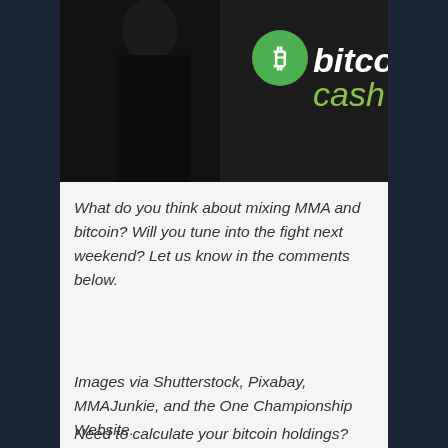[Figure (photo): Dark image showing a person in black with the Bitcoin Cash logo (green circle with B symbol) and text 'bitcoincash' in white and green on the right side]
What do you think about mixing MMA and bitcoin? Will you tune into the fight next weekend? Let us know in the comments below.
Images via Shutterstock, Pixabay, MMAJunkie, and the One Championship Website.
Need to calculate your bitcoin holdings? Check our